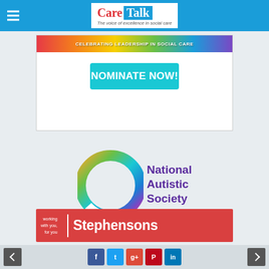Care Talk – The voice of excellence in social care
[Figure (other): Care Talk magazine header with logo: 'Care Talk – The voice of excellence in social care' on a blue background]
[Figure (other): Advertisement banner: 'CELEBRATING LEADERSHIP IN SOCIAL CARE' with rainbow gradient bar and 'NOMINATE NOW!' button in teal]
[Figure (logo): National Autistic Society logo: colourful circular ring icon with purple text 'National Autistic Society']
[Figure (logo): Stephensons logo: red banner with white text 'working with you, for you | Stephensons']
Social media share buttons: Facebook, Twitter, Google+, Pinterest, LinkedIn. Previous and next navigation buttons.